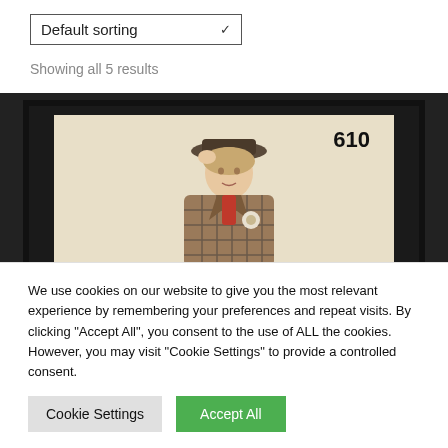Default sorting
Showing all 5 results
[Figure (photo): A vintage fashion illustration/stamp showing a woman in a plaid jacket and hat, with number 610 in the top right corner, displayed inside a black frame.]
We use cookies on our website to give you the most relevant experience by remembering your preferences and repeat visits. By clicking "Accept All", you consent to the use of ALL the cookies. However, you may visit "Cookie Settings" to provide a controlled consent.
Cookie Settings
Accept All